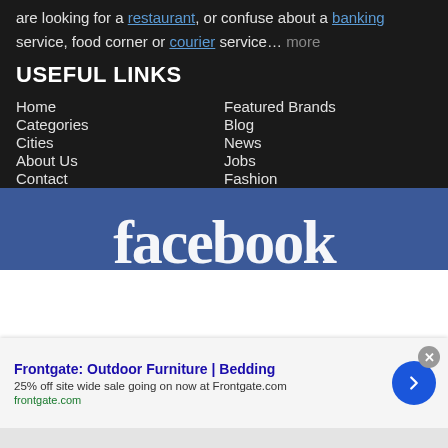are looking for a restaurant, or confuse about a banking service, food corner or courier service… more
USEFUL LINKS
Home
Featured Brands
Categories
Blog
Cities
News
About Us
Jobs
Contact
Fashion
[Figure (logo): Facebook logo banner with white text on blue background]
Frontgate: Outdoor Furniture | Bedding
25% off site wide sale going on now at Frontgate.com
frontgate.com